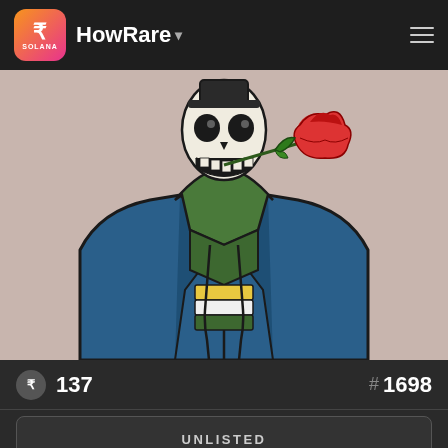HowRare
[Figure (illustration): NFT illustration of a skeleton character wearing a blue jacket and green hoodie with yellow and white stripes, holding a red rose in its mouth, against a pink/beige background]
R 137
# 1698
UNLISTED
NO SALE HISTORY